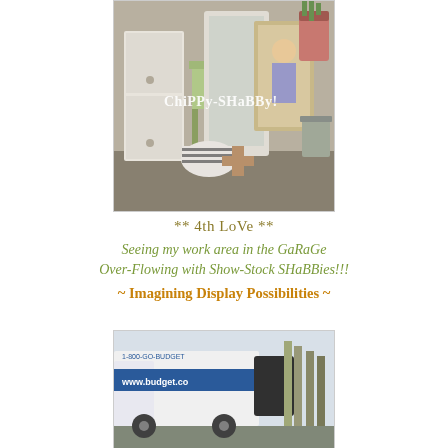[Figure (photo): Photo of shabby chic furniture items including white painted cabinet, mirrors, framed artwork, and decorative objects in a garage or outdoor setting. Text overlay reads 'ChiPPy-SHaBBy!' in white.]
** 4th LoVe **
Seeing my work area in the GaRaGe Over-Flowing with Show-Stock SHaBBies!!! ~ Imagining Display Possibilities ~